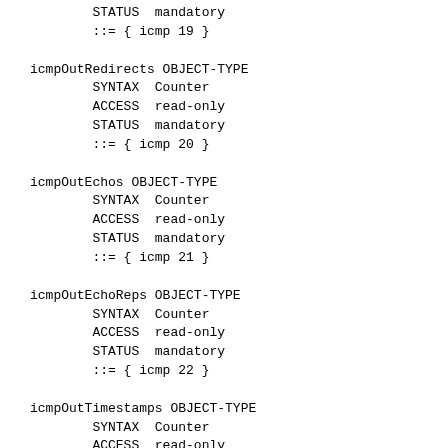STATUS  mandatory
        ::= { icmp 19 }
icmpOutRedirects OBJECT-TYPE
        SYNTAX  Counter
        ACCESS  read-only
        STATUS  mandatory
        ::= { icmp 20 }
icmpOutEchos OBJECT-TYPE
        SYNTAX  Counter
        ACCESS  read-only
        STATUS  mandatory
        ::= { icmp 21 }
icmpOutEchoReps OBJECT-TYPE
        SYNTAX  Counter
        ACCESS  read-only
        STATUS  mandatory
        ::= { icmp 22 }
icmpOutTimestamps OBJECT-TYPE
        SYNTAX  Counter
        ACCESS  read-only
        STATUS  mandatory
        ::= { icmp 23 }
icmpOutTimestampReps OBJECT-TYPE
        SYNTAX  Counter
        ACCESS  read-only